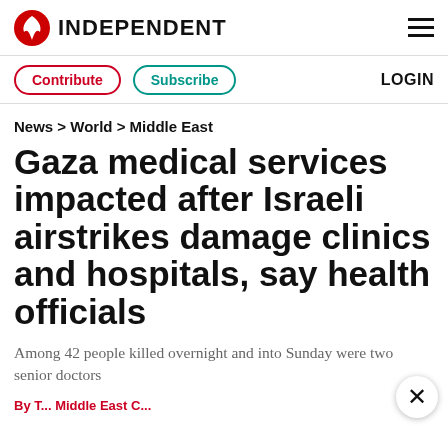INDEPENDENT
Contribute  Subscribe  LOGIN
News > World > Middle East
Gaza medical services impacted after Israeli airstrikes damage clinics and hospitals, say health officials
Among 42 people killed overnight and into Sunday were two senior doctors